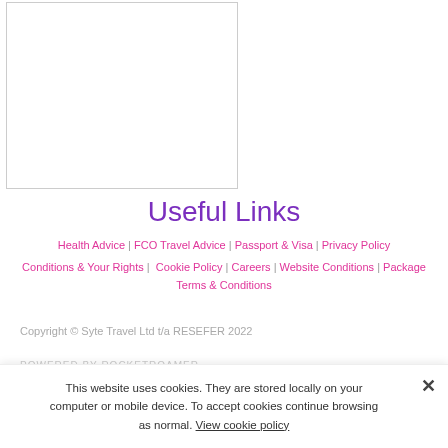[Figure (other): White rectangular box with light gray border, placeholder image area]
Useful Links
Health Advice | FCO Travel Advice | Passport & Visa | Privacy Policy
Conditions & Your Rights | Cookie Policy | Careers | Website Conditions | Package Terms & Conditions
Copyright © Syte Travel Ltd t/a RESEFER 2022
POWERED BY ROCKETROAMER
This website uses cookies. They are stored locally on your computer or mobile device. To accept cookies continue browsing as normal. View cookie policy